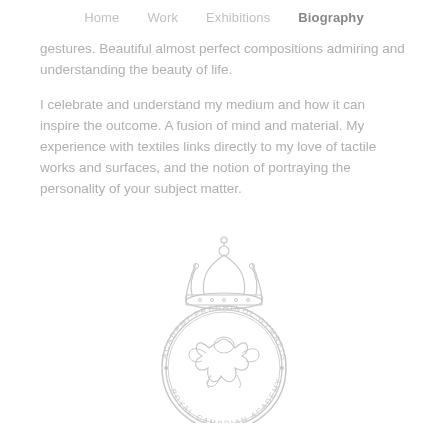Home   Work   Exhibitions   Biography
gestures. Beautiful almost perfect compositions admiring and understanding the beauty of life.
I celebrate and understand my medium and how it can inspire the outcome. A fusion of mind and material. My experience with textiles links directly to my love of tactile works and surfaces, and the notion of portraying the personality of your subject matter.
[Figure (logo): Royal Cambrian Academy crest/logo: a circular badge with a crown on top, featuring a Welsh dragon in the center, with text reading 'ACADEMI FRENHINOL GYMREIG · ROYAL CAMBRIAN ACADEMY' around the border, rendered in light gray outline style.]